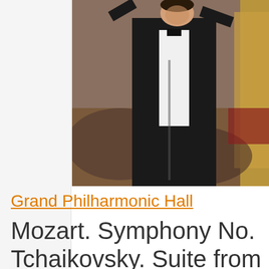[Figure (photo): A conductor in formal black tuxedo with white shirt, arms raised, performing on stage. Audience and gold ornate hall visible in the background.]
Grand Philharmonic Hall
Mozart. Symphony No. Tchaikovsky. Suite from Sleeping Beauty" performed by St. Petersburg State Symphony Orchestra.